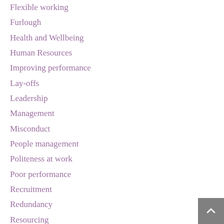Flexible working
Furlough
Health and Wellbeing
Human Resources
Improving performance
Lay-offs
Leadership
Management
Misconduct
People management
Politeness at work
Poor performance
Recruitment
Redundancy
Resourcing
sickness absence
Talent
Tax